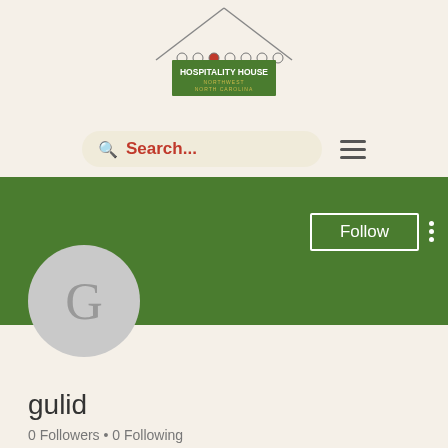[Figure (logo): Hospitality House Northwest North Carolina logo with house outline and decorative banner]
[Figure (screenshot): Search bar with magnifying glass icon and text 'Search...' in red, plus hamburger menu icon]
[Figure (screenshot): Green profile banner with Follow button (white outlined) and three-dot menu, with gray avatar circle showing letter G]
gulid
0 Followers • 0 Following
Choose a page